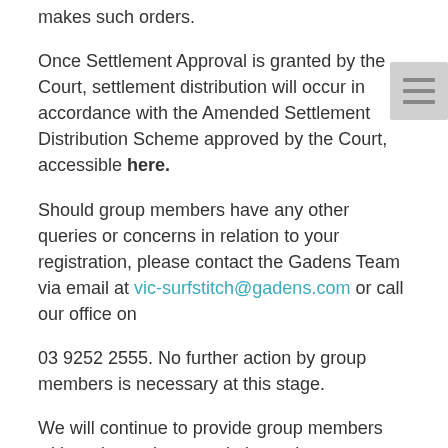…makes such orders.
Once Settlement Approval is granted by the Court, settlement distribution will occur in accordance with the Amended Settlement Distribution Scheme approved by the Court, accessible here.
Should group members have any other queries or concerns in relation to your registration, please contact the Gadens Team via email at vic-surfstitch@gadens.com or call our office on
03 9252 2555. No further action by group members is necessary at this stage.
We will continue to provide group members with updates via our website and encourage registered members to periodically review this news feed.
Glenn McGowan QC
Partner & Chief Counsel